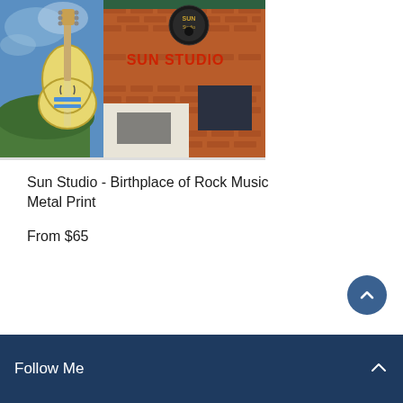[Figure (photo): Photo of Sun Studio building with a large guitar artwork on the left side. The brick building shows 'SUN STUDIO' signage in red letters. A yellow/cream hollow-body electric guitar is depicted against a blue sky background on the left portion of the image.]
Sun Studio - Birthplace of Rock Music Metal Print
From $65
Follow Me